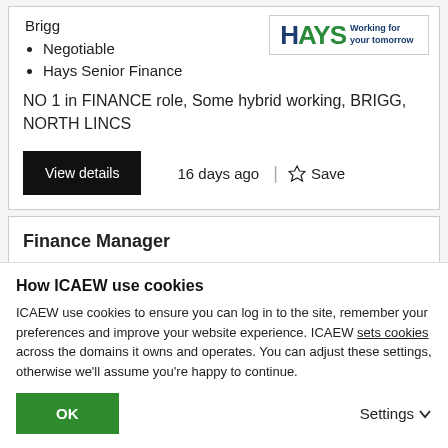Brigg
Negotiable
Hays Senior Finance
NO 1 in FINANCE role, Some hybrid working, BRIGG, NORTH LINCS
[Figure (logo): Hays logo with tagline 'Working for your tomorrow']
View details
16 days ago
Save
Finance Manager
How ICAEW use cookies
ICAEW use cookies to ensure you can log in to the site, remember your preferences and improve your website experience. ICAEW sets cookies across the domains it owns and operates. You can adjust these settings, otherwise we'll assume you're happy to continue.
OK
Settings